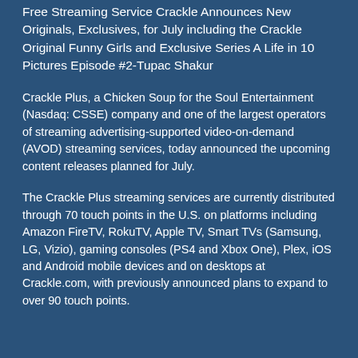Free Streaming Service Crackle Announces New Originals, Exclusives, for July including the Crackle Original Funny Girls and Exclusive Series A Life in 10 Pictures Episode #2-Tupac Shakur
Crackle Plus, a Chicken Soup for the Soul Entertainment (Nasdaq: CSSE) company and one of the largest operators of streaming advertising-supported video-on-demand (AVOD) streaming services, today announced the upcoming content releases planned for July.
The Crackle Plus streaming services are currently distributed through 70 touch points in the U.S. on platforms including Amazon FireTV, RokuTV, Apple TV, Smart TVs (Samsung, LG, Vizio), gaming consoles (PS4 and Xbox One), Plex, iOS and Android mobile devices and on desktops at Crackle.com, with previously announced plans to expand to over 90 touch points.